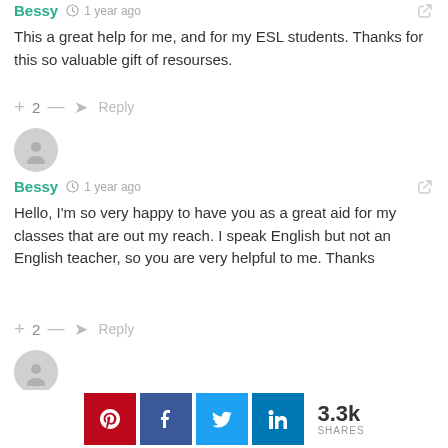Bessy  1 year ago
This a great help for me, and for my ESL students. Thanks for this so valuable gift of resourses.
+ 2 —  Reply
Bessy  1 year ago
Hello, I'm so very happy to have you as a great aid for my classes that are out my reach. I speak English but not an English teacher, so you are very helpful to me. Thanks
+ 2 —  Reply
Kaka  1 year ago
3.3k SHARES